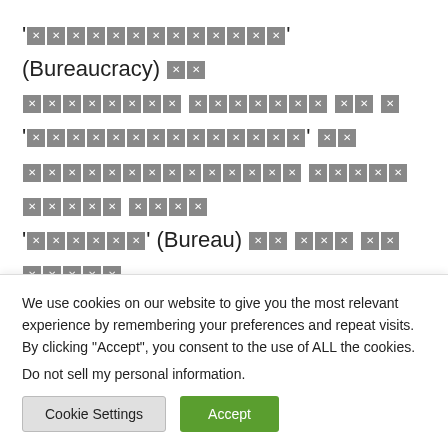'[blocked]' (Bureaucracy) [blocked] [blocked] [blocked] [blocked] '[blocked]' [blocked] [blocked] [blocked] [blocked] [blocked] [blocked] [blocked] [blocked] [blocked] [blocked] '[blocked]' (Bureau) [blocked] [blocked] [blocked] [blocked] [blocked] [blocked] [blocked] [blocked] '[blocked]' [blocked] [...]
Bureaucratic Model of Max Weber | Hindi | Government | Public Administration
We use cookies on our website to give you the most relevant experience by remembering your preferences and repeat visits. By clicking "Accept", you consent to the use of ALL the cookies. Do not sell my personal information.